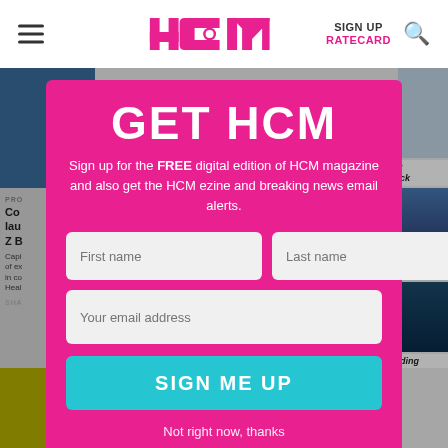HCM | SIGN UP | RATECARD
[Figure (screenshot): HCM magazine website background with partial article text and fitness images visible behind a modal overlay]
GET HCM
Sign up for the FREE digital edition of HCM magazine and also get the HCM ezine and breaking news email alerts.
First name | Last name | Your email address
SIGN ME UP
Not right now, thanks